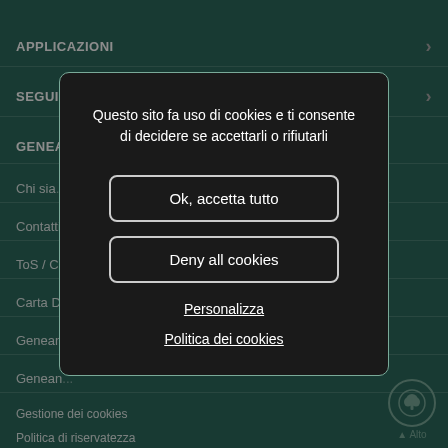APPLICAZIONI
SEGUICI
GENEA...
Chi sia...
Contatti
ToS / C...
Carta D...
Genean...
Genean...
Gestione dei cookies
Politica di riservatezza
[Figure (screenshot): Cookie consent modal dialog with dark background containing message text and buttons: Ok accetta tutto, Deny all cookies, Personalizza link, Politica dei cookies link]
Questo sito fa uso di cookies e ti consente di decidere se accettarli o rifiutarli
Ok, accetta tutto
Deny all cookies
Personalizza
Politica dei cookies
[Figure (logo): Back to top button with tree icon inside circle and Alto label]